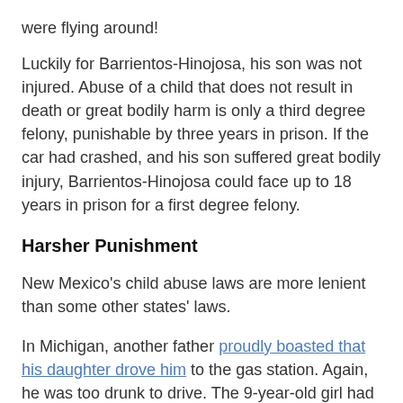were flying around!
Luckily for Barrientos-Hinojosa, his son was not injured. Abuse of a child that does not result in death or great bodily harm is only a third degree felony, punishable by three years in prison. If the car had crashed, and his son suffered great bodily injury, Barrientos-Hinojosa could face up to 18 years in prison for a first degree felony.
Harsher Punishment
New Mexico's child abuse laws are more lenient than some other states' laws.
In Michigan, another father proudly boasted that his daughter drove him to the gas station. Again, he was too drunk to drive. The 9-year-old girl had to sit in a booster seat to reach the steering wheel and gas pedal! Luckily, somebody called the police to report the child driver.